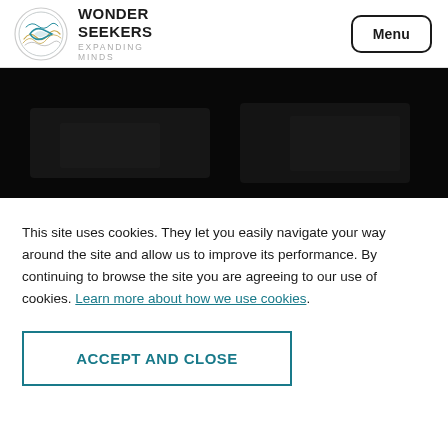[Figure (logo): Wonder Seekers Expanding Minds logo: circular emblem with flowing wave lines and a stylized fish/wave motif in teal and gold tones, next to bold text 'WONDER SEEKERS' and subtitle 'EXPANDING MINDS']
[Figure (photo): Dark/black hero banner image, appears to show a dimly lit landscape or building scene]
This site uses cookies. They let you easily navigate your way around the site and allow us to improve its performance. By continuing to browse the site you are agreeing to our use of cookies. Learn more about how we use cookies.
ACCEPT AND CLOSE